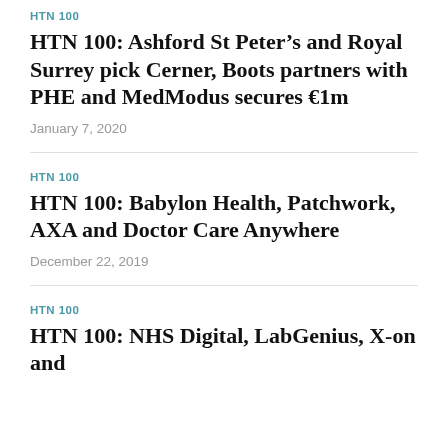HTN 100
HTN 100: Ashford St Peter’s and Royal Surrey pick Cerner, Boots partners with PHE and MedModus secures €1m
January 7, 2020
HTN 100
HTN 100: Babylon Health, Patchwork, AXA and Doctor Care Anywhere
December 22, 2019
HTN 100
HTN 100: NHS Digital, LabGenius, X-on and